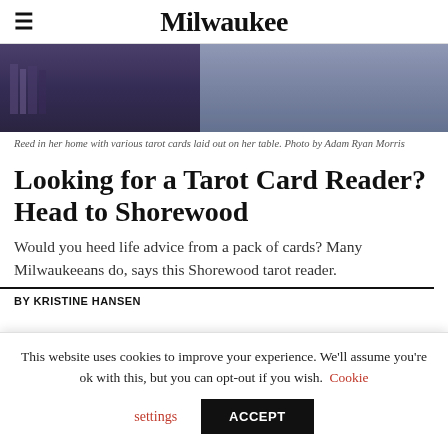Milwaukee
[Figure (photo): Reed in her home with various tarot cards laid out on her table, dark background with purple/blue tones, person visible in background right side]
Reed in her home with various tarot cards laid out on her table. Photo by Adam Ryan Morris
Looking for a Tarot Card Reader? Head to Shorewood
Would you heed life advice from a pack of cards? Many Milwaukeeans do, says this Shorewood tarot reader.
BY KRISTINE HANSEN
This website uses cookies to improve your experience. We'll assume you're ok with this, but you can opt-out if you wish. Cookie settings ACCEPT